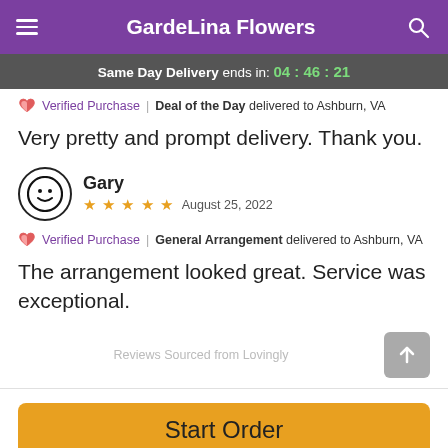GardeLina Flowers
Same Day Delivery ends in: 04 : 46 : 21
Verified Purchase | Deal of the Day delivered to Ashburn, VA
Very pretty and prompt delivery. Thank you.
Gary
★ ★ ★ ★ ★  August 25, 2022
Verified Purchase | General Arrangement delivered to Ashburn, VA
The arrangement looked great. Service was exceptional.
Reviews Sourced from Lovingly
Start Order